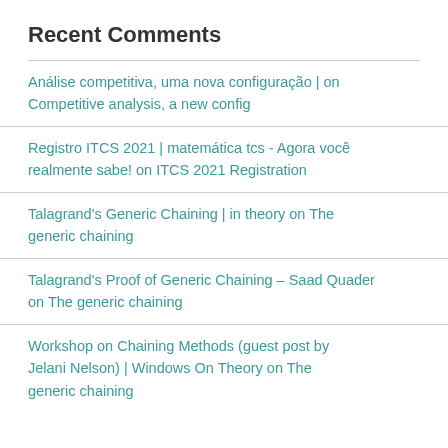Recent Comments
Análise competitiva, uma nova configuração | on Competitive analysis, a new config
Registro ITCS 2021 | matemática tcs - Agora você realmente sabe! on ITCS 2021 Registration
Talagrand's Generic Chaining | in theory on The generic chaining
Talagrand's Proof of Generic Chaining – Saad Quader on The generic chaining
Workshop on Chaining Methods (guest post by Jelani Nelson) | Windows On Theory on The generic chaining